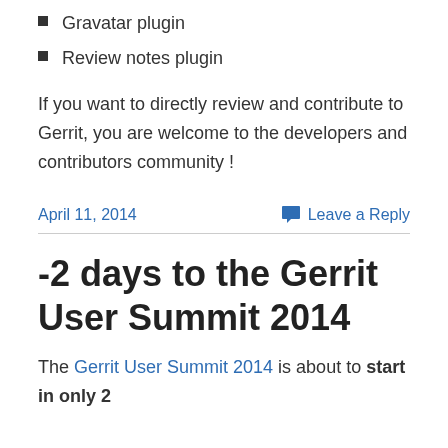Gravatar plugin
Review notes plugin
If you want to directly review and contribute to Gerrit, you are welcome to the developers and contributors community !
April 11, 2014
Leave a Reply
-2 days to the Gerrit User Summit 2014
The Gerrit User Summit 2014 is about to start in only 2